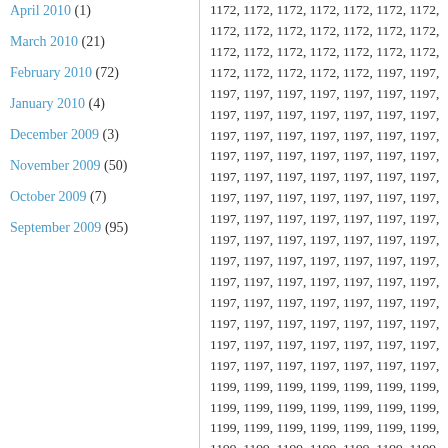April 2010 (1)
March 2010 (21)
February 2010 (72)
January 2010 (4)
December 2009 (3)
November 2009 (50)
October 2009 (7)
September 2009 (95)
1172, 1172, 1172, 1172, 1172, 1172, 1172, 1172, 1172, 1172, 1172, 1172, 1172, 1172, 1172, 1172, 1172, 1172, 1172, 1172, 1172, 1172, 1172, 1172, 1172, 1197, 1197, 1197, 1197, 1197, 1197, 1197, 1197, 1197, 1197, 1197, 1197, 1197, 1197, 1197, 1197, 1197, 1197, 1197, 1197, 1197, 1197, 1197, 1197, 1197, 1197, 1197, 1197, 1197, 1197, 1197, 1197, 1197, 1197, 1197, 1197, 1197, 1197, 1197, 1197, 1197, 1197, 1197, 1197, 1197, 1197, 1197, 1197, 1197, 1197, 1197, 1197, 1197, 1197, 1197, 1197, 1197, 1197, 1197, 1197, 1197, 1197, 1197, 1197, 1197, 1197, 1197, 1197, 1197, 1197, 1197, 1197, 1197, 1197, 1197, 1197, 1197, 1197, 1197, 1197, 1197, 1197, 1197, 1197, 1197, 1197, 1197, 1197, 1197, 1197, 1197, 1197, 1197, 1197, 1197, 1197, 1197, 1197, 1197, 1197, 1197, 1197, 1199, 1199, 1199, 1199, 1199, 1199, 1199, 1199, 1199, 1199, 1199, 1199, 1199, 1199, 1199, 1199, 1199, 1199, 1199, 1199, 1199, 1199, 1199, 1199, 1199, 1199, 1199, 1199